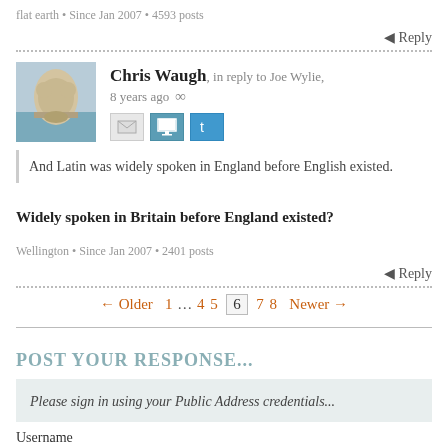flat earth • Since Jan 2007 • 4593 posts
← Reply
Chris Waugh, in reply to Joe Wylie, 8 years ago ∞
And Latin was widely spoken in England before English existed.
Widely spoken in Britain before England existed?
Wellington • Since Jan 2007 • 2401 posts
← Reply
← Older  1 … 4 5  6  7 8  Newer →
POST YOUR RESPONSE...
Please sign in using your Public Address credentials...
Username